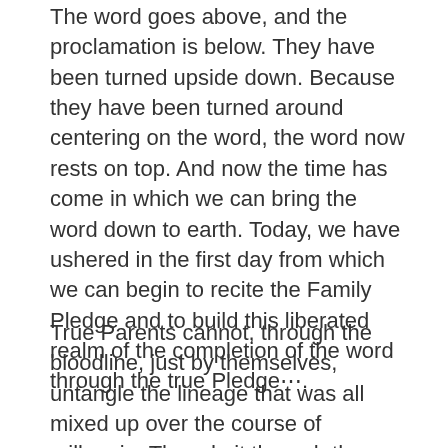The word goes above, and the proclamation is below. They have been turned upside down. Because they have been turned around centering on the word, the word now rests on top. And now the time has come in which we can bring the word down to earth. Today, we have ushered in the first day from which we can begin to recite the Family Pledge and to build this liberated realm of the completion of the word through the true Pledge⋯.
True Parents cannot, through the bloodline, just by themselves, untangle the lineage that was all mixed up over the course of millennia. They do it through the